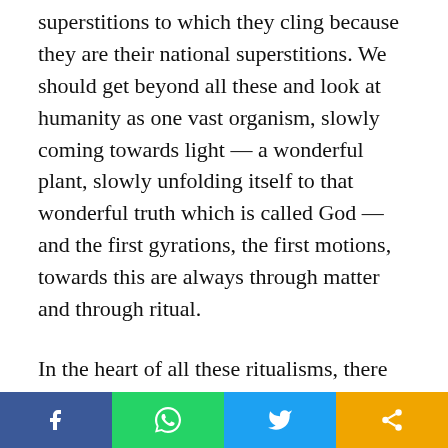superstitions to which they cling because they are their national superstitions. We should get beyond all these and look at humanity as one vast organism, slowly coming towards light — a wonderful plant, slowly unfolding itself to that wonderful truth which is called God — and the first gyrations, the first motions, towards this are always through matter and through ritual.
In the heart of all these ritualisms, there stands one idea prominent above all the rest — the worship of a name. Those of you who have studied the older forms of Christianity, those of you who have studied the other religions of the world, perhaps have marked that there is this